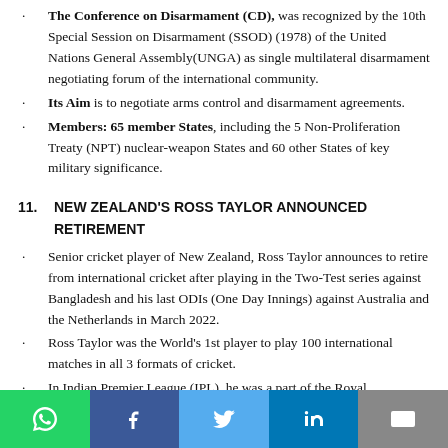The Conference on Disarmament (CD), was recognized by the 10th Special Session on Disarmament (SSOD) (1978) of the United Nations General Assembly(UNGA) as single multilateral disarmament negotiating forum of the international community.
Its Aim is to negotiate arms control and disarmament agreements.
Members: 65 member States, including the 5 Non-Proliferation Treaty (NPT) nuclear-weapon States and 60 other States of key military significance.
11. NEW ZEALAND'S ROSS TAYLOR ANNOUNCED RETIREMENT
Senior cricket player of New Zealand, Ross Taylor announces to retire from international cricket after playing in the Two-Test series against Bangladesh and his last ODIs (One Day Innings) against Australia and the Netherlands in March 2022.
Ross Taylor was the World's 1st player to play 100 international matches in all 3 formats of cricket.
In Indian Premier League (IPL), he was a part of the Royal Challengers Bangalore season from 2008 to 2010 and then became a part of Rajasthan Royals team.
Social share buttons: WhatsApp, Facebook, Twitter, LinkedIn, Email